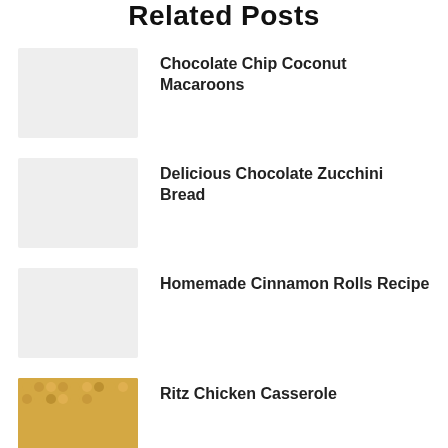Related Posts
Chocolate Chip Coconut Macaroons
Delicious Chocolate Zucchini Bread
Homemade Cinnamon Rolls Recipe
Ritz Chicken Casserole